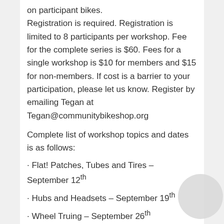on participant bikes. Registration is required. Registration is limited to 8 participants per workshop. Fee for the complete series is $60. Fees for a single workshop is $10 for members and $15 for non-members. If cost is a barrier to your participation, please let us know. Register by emailing Tegan at Tegan@communitybikeshop.org
Complete list of workshop topics and dates is as follows:
· Flat! Patches, Tubes and Tires – September 12th
· Hubs and Headsets – September 19th
· Wheel Truing – September 26th
· Them's the Brakes – October 3rd
· The Drive Train – October 10th